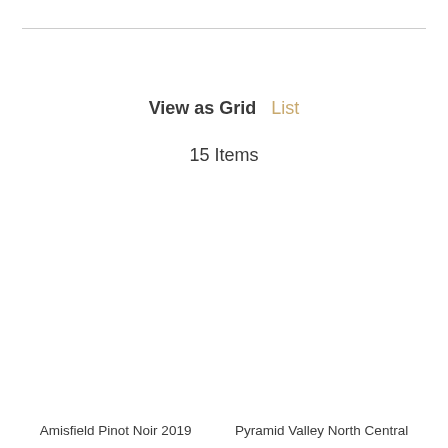View as Grid  List
15 Items
Amisfield Pinot Noir 2019
Pyramid Valley North Central